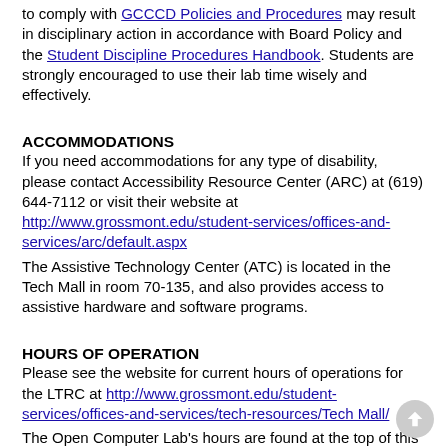to comply with GCCCD Policies and Procedures may result in disciplinary action in accordance with Board Policy and the Student Discipline Procedures Handbook. Students are strongly encouraged to use their lab time wisely and effectively.
ACCOMMODATIONS
If you need accommodations for any type of disability, please contact Accessibility Resource Center (ARC) at (619) 644-7112 or visit their website at http://www.grossmont.edu/student-services/offices-and-services/arc/default.aspx
The Assistive Technology Center (ATC) is located in the Tech Mall in room 70-135, and also provides access to assistive hardware and software programs.
HOURS OF OPERATION
Please see the website for current hours of operations for the LTRC at http://www.grossmont.edu/student-services/offices-and-services/tech-resources/Tech Mall/
The Open Computer Lab's hours are found at the top of this document. A 30- and 15-minute warning will be announced prior to our closing time. Computers are shut down